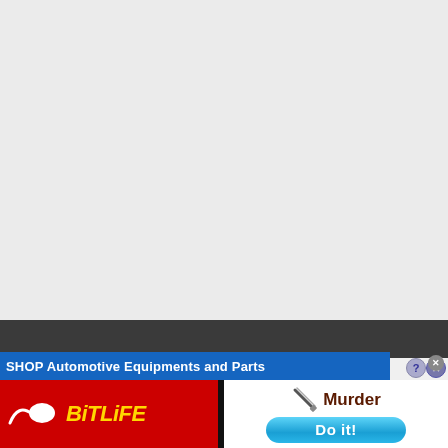[Figure (screenshot): Gray blank area representing a webpage content area before ads]
SHOP Automotive Equipments and Parts
[Figure (logo): BitLife app advertisement with red background, sperm logo icon in white, and BiTLiFE text in yellow italic bold font]
[Figure (infographic): Murder/Do it ad with white background, knife icon, dark red Murder text, and blue pill-shaped Do it! button]
[Figure (other): Ad close (X) and help (?) buttons in top right corner of ad area]